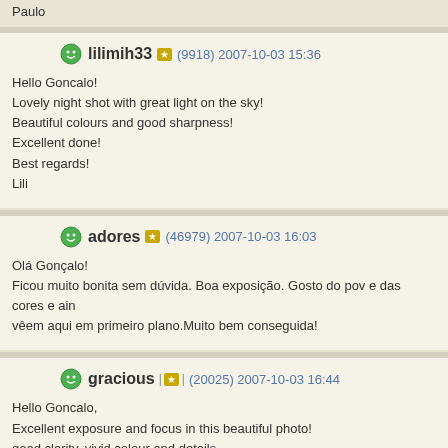Paulo
lilimih33 (9918) 2007-10-03 15:36
Hello Goncalo!
Lovely night shot with great light on the sky!
Beautiful colours and good sharpness!
Excellent done!
Best regards!
Lili
adores (46979) 2007-10-03 16:03
Olá Gonçalo!
Ficou muito bonita sem dúvida. Boa exposição. Gosto do pov e das cores e ain vêem aqui em primeiro plano.Muito bem conseguida!
gracious (20025) 2007-10-03 16:44
Hello Goncalo,
Excellent exposure and focus in this beautiful photo!
good clarity, vivid colour and details
TFS
cheers